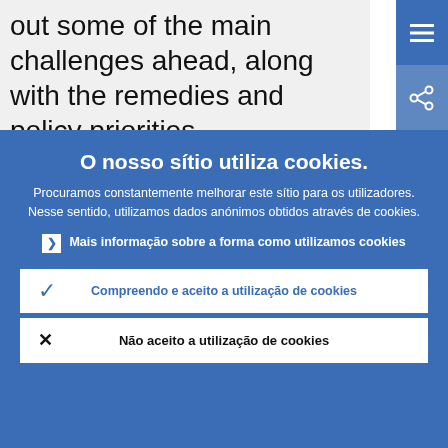out some of the main challenges ahead, along with the remedies and policy priorities.
O nosso sítio utiliza cookies.
Procuramos constantemente melhorar este sítio para os utilizadores. Nesse sentido, utilizamos dados anónimos obtidos através de cookies.
Mais informação sobre a forma como utilizamos cookies
Compreendo e aceito a utilização de cookies
Não aceito a utilização de cookies